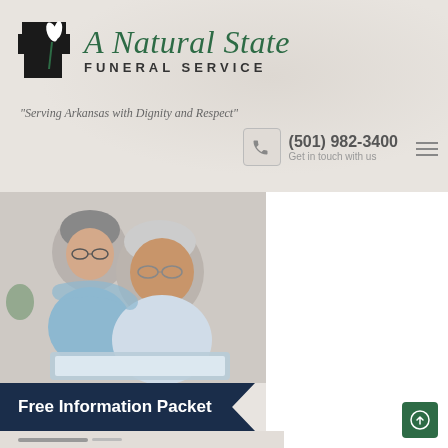[Figure (logo): A Natural State Funeral Service logo with Arkansas state outline silhouette in black and a stylized white flower/lily, next to italic green script 'A Natural State' and bold sans-serif 'FUNERAL SERVICE']
"Serving Arkansas with Dignity and Respect"
(501) 982-3400
Get in touch with us
[Figure (photo): Elderly couple, woman with short grey hair and glasses looking over shoulder of older man with glasses, both looking at a tablet/laptop screen, in light blue clothing]
Free Information Packet
[Figure (other): Scroll-to-top button, green square with upward arrow icon]